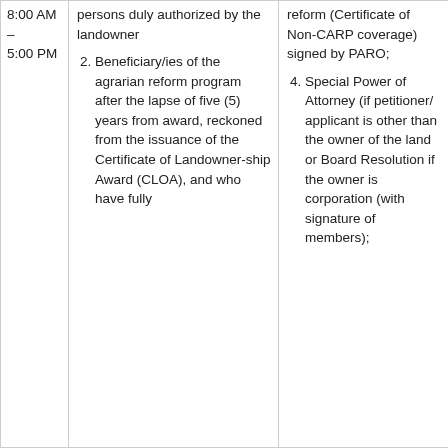persons duly authorized by the landowner
Beneficiary/ies of the agrarian reform program after the lapse of five (5) years from award, reckoned from the issuance of the Certificate of Landowner-ship Award (CLOA), and who have fully
reform (Certificate of Non-CARP coverage) signed by PARO;
Special Power of Attorney (if petitioner/applicant is other than the owner of the land or Board Resolution if the owner is corporation (with signature of members);
8:00 AM – 5:00 PM